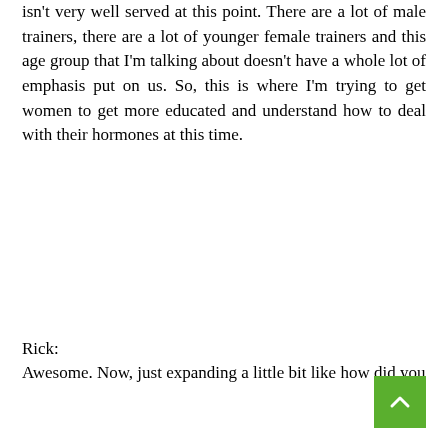isn't very well served at this point. There are a lot of male trainers, there are a lot of younger female trainers and this age group that I'm talking about doesn't have a whole lot of emphasis put on us. So, this is where I'm trying to get women to get more educated and understand how to deal with their hormones at this time.
Rick:
Awesome. Now, just expanding a little bit like how did you